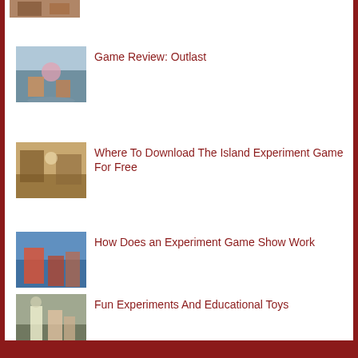[Figure (photo): Partial image at top of page, people at an event]
Game Review: Outlast
[Figure (photo): Children playing outdoors with a rainbow in the background]
Where To Download The Island Experiment Game For Free
[Figure (photo): Family playing a board game indoors]
How Does an Experiment Game Show Work
[Figure (photo): People working together on a hands-on activity]
Fun Experiments And Educational Toys
[Figure (photo): People jumping outdoors]